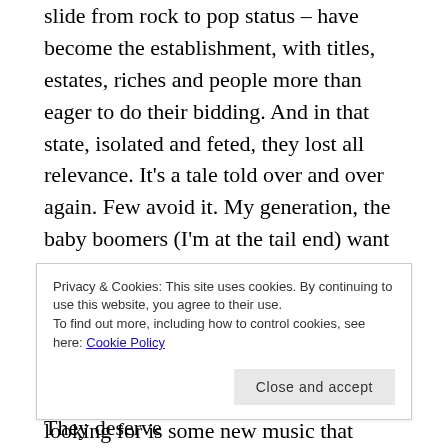slide from rock to pop status – have become the establishment, with titles, estates, riches and people more than eager to do their bidding. And in that state, isolated and feted, they lost all relevance. It's a tale told over and over again. Few avoid it. My generation, the baby boomers (I'm at the tail end) want to keep connected, to stay hip. We listen to new music, we want something to excite us. And while that may be the way we've been conditioned it's probably wrong. What we should be looking for is some new music that climbs up from the streets, out of the underground, that we can't
Privacy & Cookies: This site uses cookies. By continuing to use this website, you agree to their use. To find out more, including how to control cookies, see here: Cookie Policy
as the bird as we gave it to our parents. They deserve